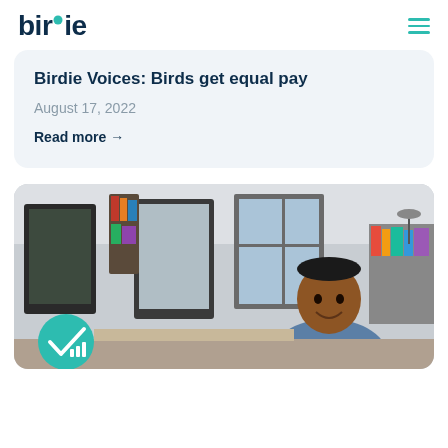birdie
Birdie Voices: Birds get equal pay
August 17, 2022
Read more →
[Figure (photo): A smiling man sitting at a computer workstation in an office environment, with monitors, bookshelves, and windows visible. A teal circular birdie badge with a checkmark and signal icon is in the lower left corner.]